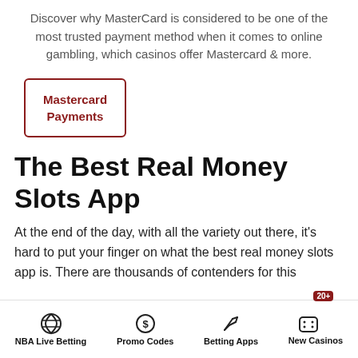Discover why MasterCard is considered to be one of the most trusted payment method when it comes to online gambling, which casinos offer Mastercard & more.
Mastercard Payments
The Best Real Money Slots App
At the end of the day, with all the variety out there, it's hard to put your finger on what the best real money slots app is. There are thousands of contenders for this
NBA Live Betting | Promo Codes | Betting Apps | New Casinos 20+